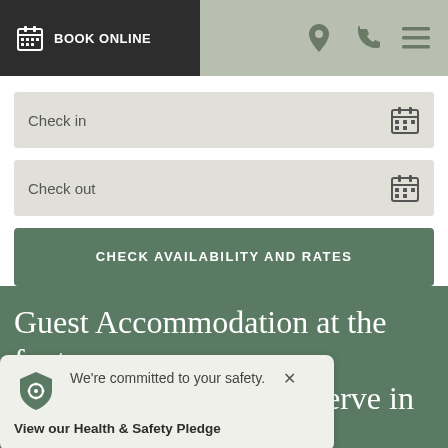BOOK ONLINE
Check in
Check out
CHECK AVAILABILITY AND RATES
Guest Accommodation at the foot of Fernkloof Nature Reserve in ... walking
We're committed to your safety.
View our Health & Safety Pledge